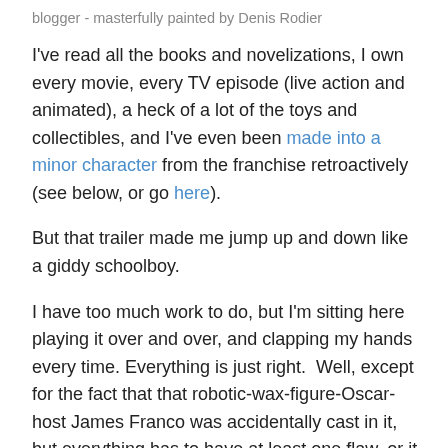blogger - masterfully painted by Denis Rodier
I've read all the books and novelizations, I own every movie, every TV episode (live action and animated), a heck of a lot of the toys and collectibles, and I've even been made into a minor character from the franchise retroactively (see below, or go here).
But that trailer made me jump up and down like a giddy schoolboy.
I have too much work to do, but I'm sitting here playing it over and over, and clapping my hands every time. Everything is just right.  Well, except for the fact that that robotic-wax-figure-Oscar-host James Franco was accidentally cast in it, but everything has to have at least one flaw, or it would offend the gods.